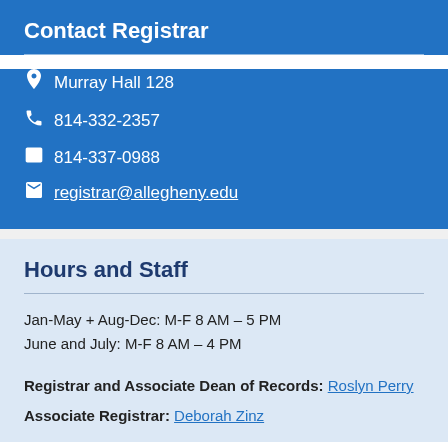Contact Registrar
Murray Hall 128
814-332-2357
814-337-0988
registrar@allegheny.edu
Hours and Staff
Jan-May + Aug-Dec: M-F 8 AM – 5 PM
June and July: M-F 8 AM – 4 PM
Registrar and Associate Dean of Records: Roslyn Perry
Associate Registrar: Deborah Zinz